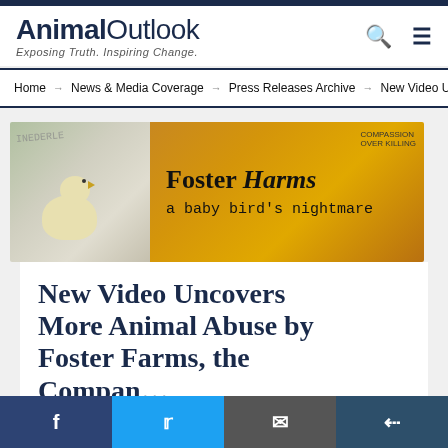Animal Outlook — Exposing Truth. Inspiring Change.
Home → News & Media Coverage → Press Releases Archive → New Video U…
[Figure (illustration): Banner image: left side shows a baby chick on a blurred background; right side is golden-orange textured background with typewriter text reading 'Foster Harms a baby bird's nightmare' and a Compassion Over Killing logo in the corner.]
New Video Uncovers More Animal Abuse by Foster Farms, the Compan… Slaughte…
Social share bar: Facebook, Twitter, Email, Share